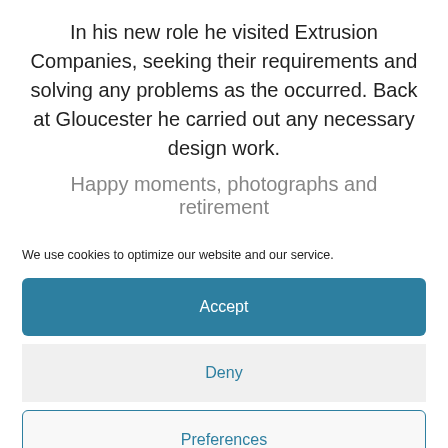In his new role he visited Extrusion Companies, seeking their requirements and solving any problems as the occurred. Back at Gloucester he carried out any necessary design work.
Happy moments, photographs and retirement
We use cookies to optimize our website and our service.
Accept
Deny
Preferences
Cookie Policy   Privacy Statement